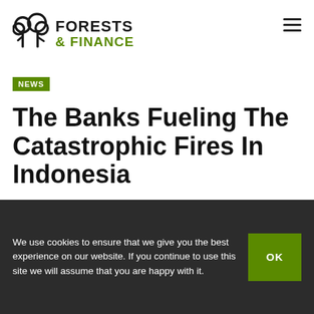FORESTS & FINANCE
NEWS
The Banks Fueling The Catastrophic Fires In Indonesia
We use cookies to ensure that we give you the best experience on our website. If you continue to use this site we will assume that you are happy with it.